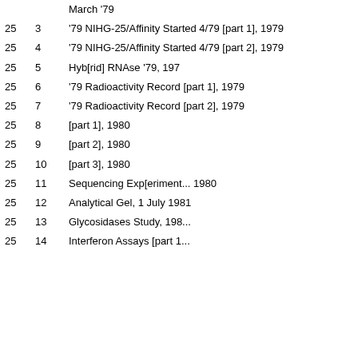| Box | Folder | Description |
| --- | --- | --- |
|  |  | March '79 |
| 25 | 3 | '79 NIHG-25/Affinity Started 4/79 [part 1], 1979 |
| 25 | 4 | '79 NIHG-25/Affinity Started 4/79 [part 2], 1979 |
| 25 | 5 | Hyb[rid] RNAse '79, 197... |
| 25 | 6 | '79 Radioactivity Record [part 1], 1979 |
| 25 | 7 | '79 Radioactivity Record [part 2], 1979 |
| 25 | 8 | [part 1], 1980 |
| 25 | 9 | [part 2], 1980 |
| 25 | 10 | [part 3], 1980 |
| 25 | 11 | Sequencing Exp[eriment... 1980 |
| 25 | 12 | Analytical Gel, 1 July 1981 |
| 25 | 13 | Glycosidases Study, 198... |
| 25 | 14 | Interferon Assays [part 1... |